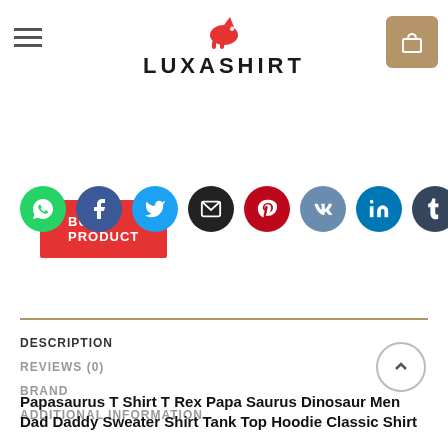LUXASHIRT
BUY PRODUCT
[Figure (other): Row of 8 social media icon buttons: WhatsApp (green), Facebook (blue), Twitter (light blue), Email (black), Pinterest (red), VK (gray-blue), LinkedIn (blue), Tumblr (dark blue)]
DESCRIPTION
REVIEWS (0)
BRAND
ADDITIONAL INFORMATION
Papasaurus T Shirt T Rex Papa Saurus Dinosaur Men Dad Daddy Sweater Shirt Tank Top Hoodie Classic Shirt